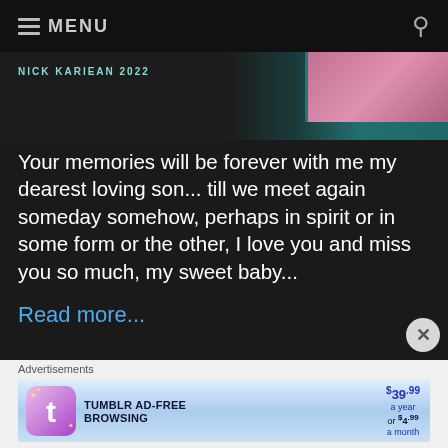≡ MENU
[Figure (screenshot): Thumbnail image with pink/magenta tones and teal strip, labeled NICK KARIEAN 2022]
Your memories will be forever with me my dearest loving son... till we meet again someday somehow, perhaps in spirit or in some form or the other, I love you and miss you so much, my sweet baby...
Read more...
Advertisements
[Figure (screenshot): Tumblr AD-FREE BROWSING advertisement banner. $39.99 a year or $4.99 a month]